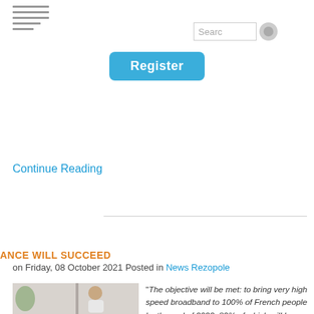[Figure (other): Hamburger menu icon with 5 horizontal lines of varying width]
[Figure (screenshot): Search input box with text 'Searc' and a circular grey search button]
[Figure (other): Blue 'Register' button]
Continue Reading
[Figure (photo): Photo of a man sitting on a couch, holding a phone, with a plant in the background]
ANCE WILL SUCCEED
on Friday, 08 October 2021 Posted in News Rezopole
"The objective will be met: to bring very high speed broadband to 100% of French people by the end of 2022, 80% of which will be fibre - probably more," said Cédric O, the Secretary of State for Digital Affairs.